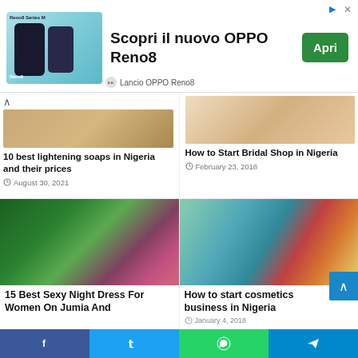[Figure (photo): Advertisement banner for OPPO Reno8 smartphone with product image, 'Scopri il nuovo OPPO Reno8' text, green 'Apri' button, and 'Lancio OPPO Reno8' footer]
10 best lightening soaps in Nigeria and their prices
August 30, 2021
[Figure (photo): Bridal shop image showing fabric rolls or wedding items]
How to Start Bridal Shop in Nigeria
February 23, 2018
[Figure (photo): 15 Best Sexy Night Dress product images showing green and colorful nightdresses]
15 Best Sexy Night Dress For Women On Jumia And
[Figure (photo): Woman in red uniform smiling in a cosmetics/supermarket aisle with products on shelves]
How to start cosmetics business in Nigeria
January 4, 2018